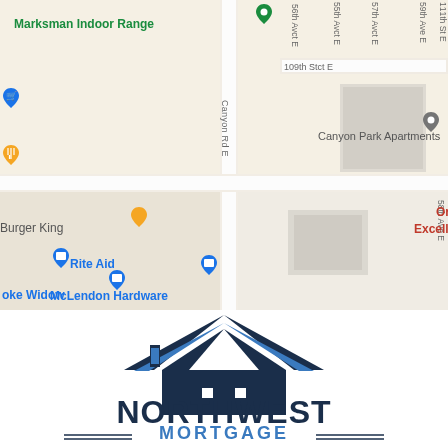[Figure (map): Google Maps screenshot showing area near Canyon Park Apartments in Puyallup, WA. Shows streets including 55th Avct E, 56th Avct E, 57th Avct E, 58th Ave E, 59th Ave E, 109th Stct E, 111th St E, 112th St E, Canyon Rd E. Nearby businesses include Marksman Indoor Range, Burger King, Rite Aid, McLendon Hardware, Canyon Park Apartments, Orthodontic Excellence - Puyallup, GTS Inc, 112th Street location. Map pins shown in green, blue, orange, red, and gray.]
[Figure (logo): Northwest Mortgage logo: dark navy house/roof icon above the text NORTHWEST MORTGAGE with decorative horizontal lines flanking MORTGAGE.]